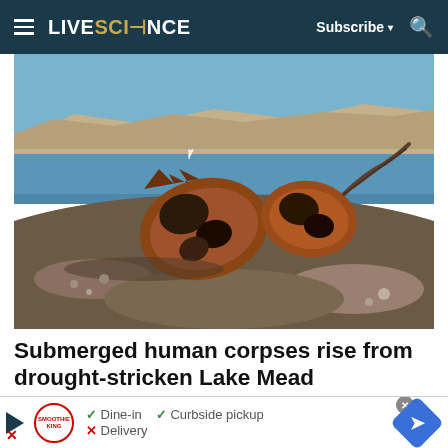LIVE SCIENCE | Subscribe | Search
[Figure (photo): Rusted corroded barrel lying on a rocky muddy shoreline at Lake Mead with blue water and tan rocky hills in the background under blue sky]
Submerged human corpses rise from drought-stricken Lake Mead
Dine-in  Curbside pickup  Delivery (Advertisement for Smoothie King)